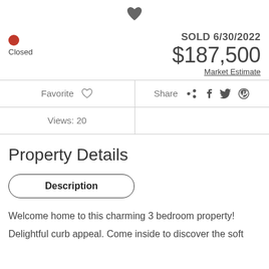[Figure (illustration): Heart icon (favorite) centered at top of page]
SOLD 6/30/2022
$187,500
Market Estimate
Closed
Favorite
Share
Views: 20
Property Details
Description
Welcome home to this charming 3 bedroom property!
Delightful curb appeal. Come inside to discover the soft